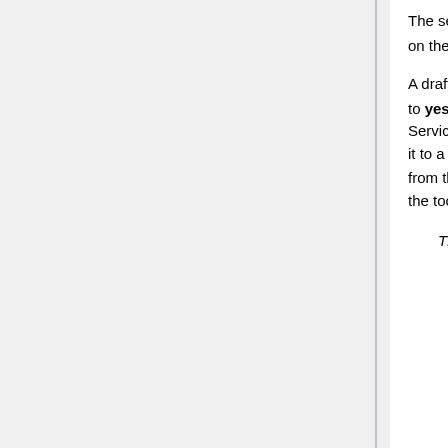The servlet context is revert. It is triggered by clicking the Revert to draft status button on the MIRCdocument.
A draft case is one for which the MIRCdocument root element has the temp attribute set to yes. Normally, a draft case is created automatically by the DICOM Service or the TCE Service. When a draft case is opened and then saved, the Advanced Author Tool converts it to a completed case by removing the temp attribute and storing it in a different folder from the one automatically created for it when it was first constructed. At the same time, the tool adds the draftpath attribute pointing to the location it had as a draft document.
The DICOM Service inserts DICOM